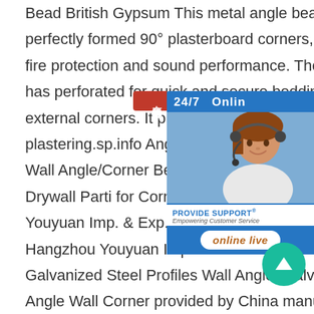Bead British Gypsum This metal angle bead gives you strong, perfectly formed 90° plasterboard corners, while also maintaining fire protection and sound performance. The galvanised steel bead has perforated for quick and secure bedding, and a strong to protect external corners. It provides a accurate corner line for plastering.sp.info Angle/Corner Bead - Hangzhou Youyuan China Wall Angle/Corner Bead catalog o Steel Angle Bracket, Steel Drywall Parti for Corner Protection provided by China m Hangzhou Youyuan Imp. & Exp. Co., Ltd., page2.sp Wall Angle/Corner Bead - Hangzhou Youyuan Imp. China Wall Angle/Corner Bead catalog of Galvanized Steel Profiles Wall Angle, Galvanized Steel Ceiling Angle Wall Corner provided by China manufacturer - Hangzho
[Figure (other): Live chat support widget showing a woman with a headset, 24/7 Online label, Provide Support branding, and online live button]